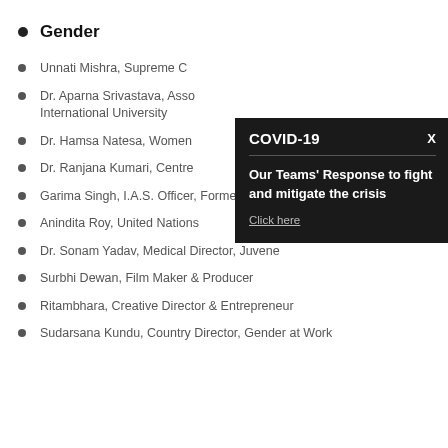Gender
Unnati Mishra, Supreme C…
Dr. Aparna Srivastava, Asso… International University
Dr. Hamsa Natesa, Women…
Dr. Ranjana Kumari, Centre…
Garima Singh, I.A.S. Officer, Former I.P.S Officer
Anindita Roy, United Nations
Dr. Sonam Yadav, Medical Director, Juvene
Surbhi Dewan, Film Maker & Producer
Ritambhara, Creative Director & Entrepreneur
Sudarsana Kundu, Country Director, Gender at Work
[Figure (screenshot): COVID-19 popup overlay with title 'COVID-19', close button 'X', horizontal divider, bold text 'Our Teams Response to fight and mitigate the crisis', and underlined 'Click here' link.]